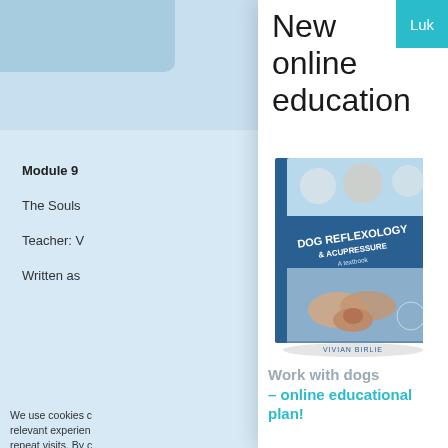New online education
[Figure (photo): Book cover: Dog Reflexology & Acupressure - A textbook by Vivian Birlie, showing dogs and hands performing acupressure on a dog paw]
Work with dogs – online educational plan!
Module 9
The Souls
Teacher: V
Written as
We use cookies c relevant experien repeat visits. By c of ALL the cookie Settings" to prov
Cookie Settings
Luk